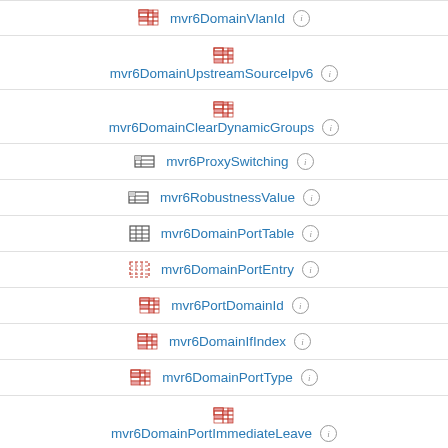mvr6DomainVlanId
mvr6DomainUpstreamSourceIpv6
mvr6DomainClearDynamicGroups
mvr6ProxySwitching
mvr6RobustnessValue
mvr6DomainPortTable
mvr6DomainPortEntry
mvr6PortDomainId
mvr6DomainIfIndex
mvr6DomainPortType
mvr6DomainPortImmediateLeave
mvr6DomainPortActive
mvr6DomainPortImmediateLeaveByHostIp